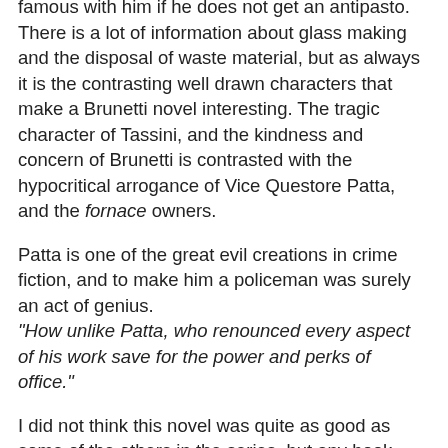famous with him if he does not get an antipasto. There is a lot of information about glass making and the disposal of waste material, but as always it is the contrasting well drawn characters that make a Brunetti novel interesting. The tragic character of Tassini, and the kindness and concern of Brunetti is contrasted with the hypocritical arrogance of Vice Questore Patta, and the fornace owners.
Patta is one of the great evil creations in crime fiction, and to make him a policeman was surely an act of genius.
"How unlike Patta, who renounced every aspect of his work save for the power and perks of office."
I did not think this novel was quite as good as some of the others in the series, but any book with the fragrant Paola Brunetti and the enigmatic Signorina Elettra has me hooked.
Lamb it was, lamb with balsamic vinegar and green beans. No antipasto and only a salad to follow.